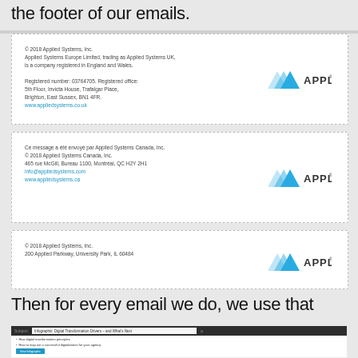the footer of our emails.
[Figure (screenshot): Email footer box 1: Applied Systems UK copyright notice with Applied logo]
[Figure (screenshot): Email footer box 2: Applied Systems Canada copyright notice with Applied logo]
[Figure (screenshot): Email footer box 3: Applied Systems Inc copyright notice with Applied logo]
Then for every email we do, we use that Snippet in our footer section.
[Figure (screenshot): Screenshot of email editor showing Applied Systems email with footer snippet applied]